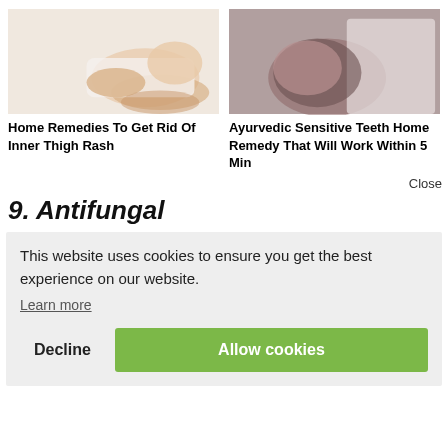[Figure (photo): Woman in white sitting on floor, legs visible, white background]
[Figure (photo): Child getting hair/head treatment by someone in a white coat]
Home Remedies To Get Rid Of Inner Thigh Rash
Ayurvedic Sensitive Teeth Home Remedy That Will Work Within 5 Min
Close
9. Antifungal
This website uses cookies to ensure you get the best experience on our website.
Learn more
Decline
Allow cookies